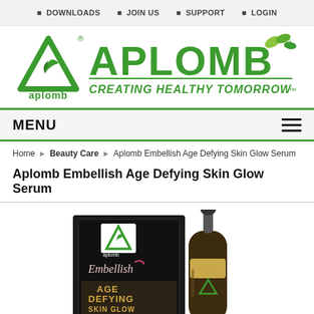DOWNLOADS  JOIN US  SUPPORT  LOGIN
[Figure (logo): Aplomb logo with green triangle icon and text 'APLOMB Creating Healthy Tomorrow']
MENU
Home > Beauty Care > Aplomb Embellish Age Defying Skin Glow Serum
Aplomb Embellish Age Defying Skin Glow Serum
[Figure (photo): Product photo of Aplomb Embellish Age Defying Skin Glow Serum - dark box packaging with dropper bottle, gold and black design, text shows Embellish AGE DEFYING SKIN GLOW]